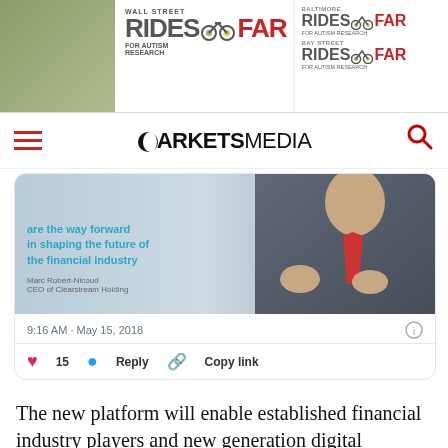[Figure (illustration): Banner advertisement for 'Wall Street Rides FAR for Autism Research' and 'Baltimore Rides FAR' and 'Bay Street Rides FAR', with orange section showing 'Oct 20']
[Figure (logo): Markets Media logo with hamburger menu and search icon]
[Figure (screenshot): Embedded tweet card showing an image of Marc Robert-Nicoud, CEO of Clearstream Holding, with text 'are the way forward in shaping the future of the financial industry', timestamp 9:16 AM May 15 2018, 15 likes, Reply and Copy link actions]
The new platform will enable established financial industry players and new generation digital companies to distribute and leverage